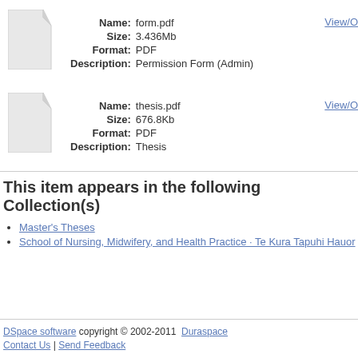[Figure (illustration): Generic file/document icon (white page with folded corner)]
Name: form.pdf
Size: 3.436Mb
Format: PDF
Description: Permission Form (Admin)
View/O
[Figure (illustration): Generic file/document icon (white page with folded corner)]
Name: thesis.pdf
Size: 676.8Kb
Format: PDF
Description: Thesis
View/O
This item appears in the following Collection(s)
Master's Theses
School of Nursing, Midwifery, and Health Practice · Te Kura Tapuhi Hauor
DSpace software copyright © 2002-2011  Duraspace
Contact Us | Send Feedback